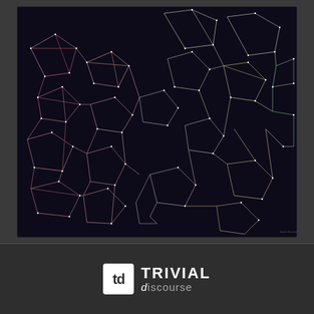[Figure (network-graph): A dark navy/purple background network graph visualization showing interconnected nodes and edges forming irregular polygon-like cells. The edges are rendered in multicolored lines (white, pink, red, yellow, green) creating a complex web pattern resembling a Voronoi or Delaunay triangulation network. The image has a thin border and appears on a dark gray background.]
[Figure (logo): Trivial Discourse logo: a white square box containing the letters 'td' in dark text, followed by the text 'TRIVIAL' in bold white caps and 'discourse' in gray lowercase, on a dark background.]